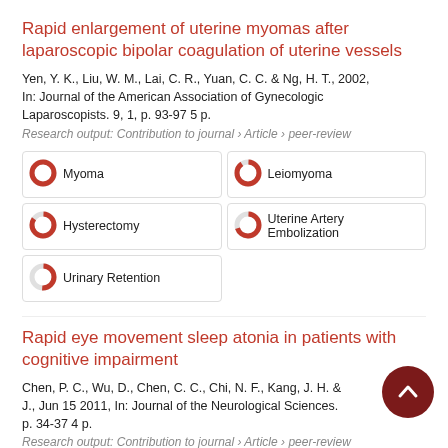Rapid enlargement of uterine myomas after laparoscopic bipolar coagulation of uterine vessels
Yen, Y. K., Liu, W. M., Lai, C. R., Yuan, C. C. & Ng, H. T., 2002, In: Journal of the American Association of Gynecologic Laparoscopists. 9, 1, p. 93-97 5 p.
Research output: Contribution to journal › Article › peer-review
Myoma | Leiomyoma | Hysterectomy | Uterine Artery Embolization | Urinary Retention
Rapid eye movement sleep atonia in patients with cognitive impairment
Chen, P. C., Wu, D., Chen, C. C., Chi, N. F., Kang, J. H. & J., Jun 15 2011, In: Journal of the Neurological Sciences. p. 34-37 4 p.
Research output: Contribution to journal › Article › peer-review